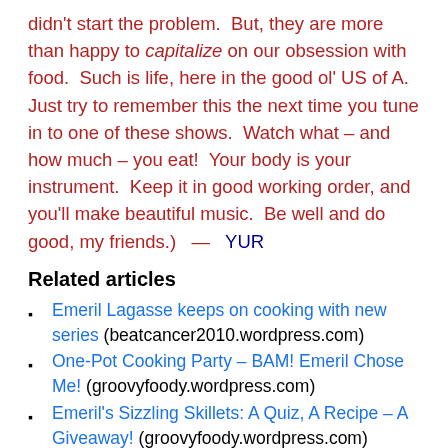didn't start the problem.  But, they are more than happy to capitalize on our obsession with food.  Such is life, here in the good ol' US of A.  Just try to remember this the next time you tune in to one of these shows.  Watch what – and how much – you eat!  Your body is your instrument.  Keep it in good working order, and you'll make beautiful music.  Be well and do good, my friends.)  —  YUR
Related articles
Emeril Lagasse keeps on cooking with new series (beatcancer2010.wordpress.com)
One-Pot Cooking Party – BAM! Emeril Chose Me! (groovyfoody.wordpress.com)
Emeril's Sizzling Skillets: A Quiz, A Recipe – A Giveaway! (groovyfoody.wordpress.com)
Recipe Preserves (saheo.wordpress.com)
Enter Box Preserves (saheo.wordpress.com) ...